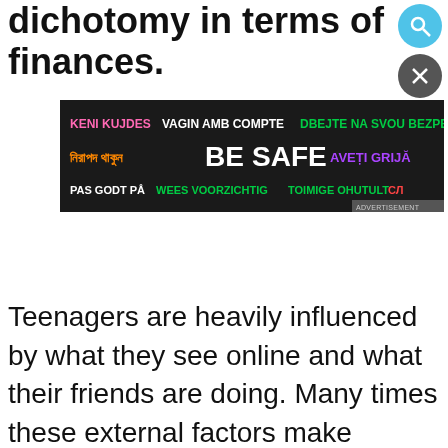dichotomy in terms of finances.
[Figure (screenshot): BE SAFE multilingual advertisement banner on dark background with colorful text in multiple languages including Bengali, English, French, Dutch, Czech, Romanian, and others.]
Teenagers are heavily influenced by what they see online and what their friends are doing. Many times these external factors make teenagers forget about this important difference. Therefore, you have to remind